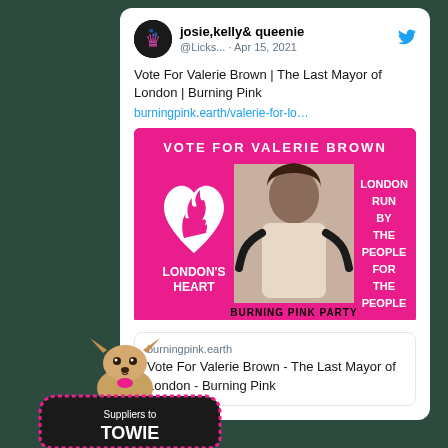[Figure (screenshot): Tweet from josie,kelly& queenie (@Licks...) dated Apr 15, 2021. Tweet text: 'Vote For Valerie Brown | The Last Mayor of London | Burning Pink' with link burningpink.earth/valerie-for-lo... Includes campaign image for Burning Pink Party - Vote For Valerie Brown with pink background showing a woman, heart logo with flame, text 'LONDON'S HEART' and 'LONDON RUN BY THE PEOPLE FOR THE PEOPLE'. Below is a link preview showing burningpink.earth domain and title 'Vote For Valerie Brown - The Last Mayor of London - Burning Pink'.]
[Figure (logo): Bottom left logo area showing a Chihuahua dog and 'Suppliers to TOWIE' badge with pink and black design]